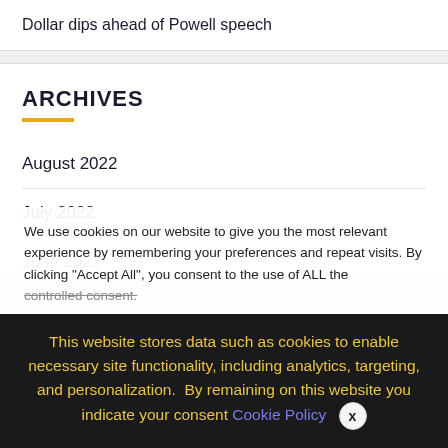Dollar dips ahead of Powell speech
ARCHIVES
August 2022
July 2022
June 2022
We use cookies on our website to give you the most relevant experience by remembering your preferences and repeat visits. By clicking “Accept All”, you consent to the use of ALL the controlled consent.
This website stores data such as cookies to enable necessary site functionality, including analytics, targeting, and personalization. By remaining on this website you indicate your consent Cookie Policy